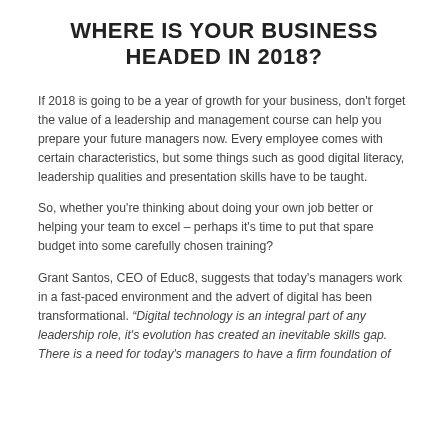WHERE IS YOUR BUSINESS HEADED IN 2018?
If 2018 is going to be a year of growth for your business, don't forget the value of a leadership and management course can help you prepare your future managers now. Every employee comes with certain characteristics, but some things such as good digital literacy, leadership qualities and presentation skills have to be taught.
So, whether you're thinking about doing your own job better or helping your team to excel – perhaps it's time to put that spare budget into some carefully chosen training?
Grant Santos, CEO of Educ8, suggests that today's managers work in a fast-paced environment and the advert of digital has been transformational. “Digital technology is an integral part of any leadership role, it's evolution has created an inevitable skills gap. There is a need for today's managers to have a firm foundation of